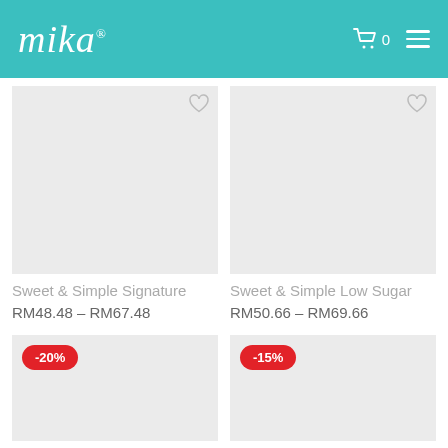mika
[Figure (illustration): Product image placeholder (light gray rectangle) for Sweet & Simple Signature]
Sweet & Simple Signature
RM48.48 – RM67.48
[Figure (illustration): Product image placeholder (light gray rectangle) for Sweet & Simple Low Sugar]
Sweet & Simple Low Sugar
RM50.66 – RM69.66
[Figure (illustration): Product image placeholder (light gray rectangle) with -20% discount badge]
[Figure (illustration): Product image placeholder (light gray rectangle) with -15% discount badge]